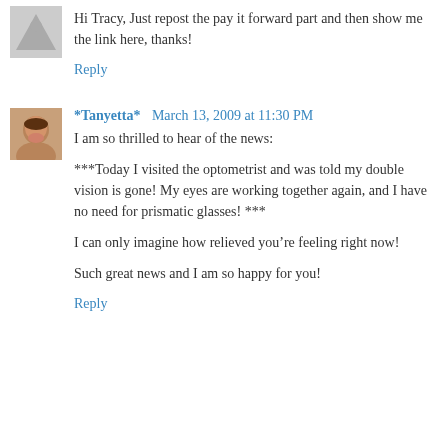Hi Tracy, Just repost the pay it forward part and then show me the link here, thanks!
Reply
*Tanyetta* March 13, 2009 at 11:30 PM
I am so thrilled to hear of the news:
***Today I visited the optometrist and was told my double vision is gone! My eyes are working together again, and I have no need for prismatic glasses! ***
I can only imagine how relieved you’re feeling right now!
Such great news and I am so happy for you!
Reply